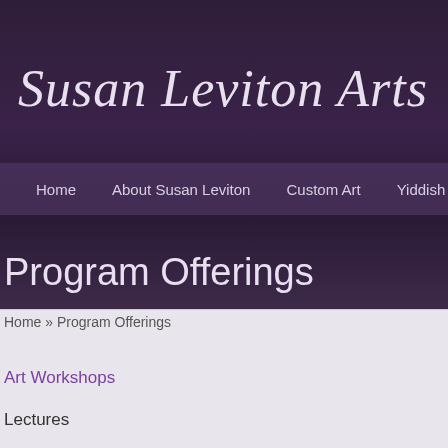Susan Leviton Arts
Home | About Susan Leviton | Custom Art | Yiddish Music | Program Offerings
Program Offerings
Home » Program Offerings
Art Workshops
Lectures